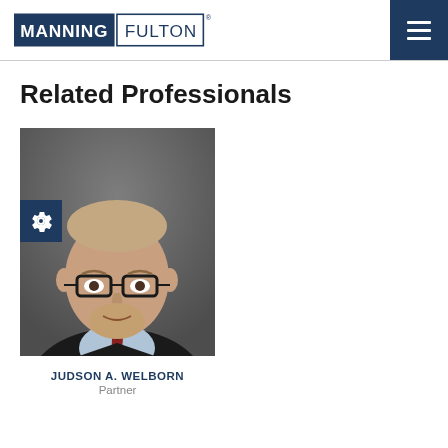MANNING FULTON
Related Professionals
[Figure (photo): Professional headshot of Judson A. Welborn, a man with glasses, beard, wearing a dark suit and red tie against a gray background. A blue gear icon overlay appears on the left side of the photo.]
JUDSON A. WELBORN
Partner